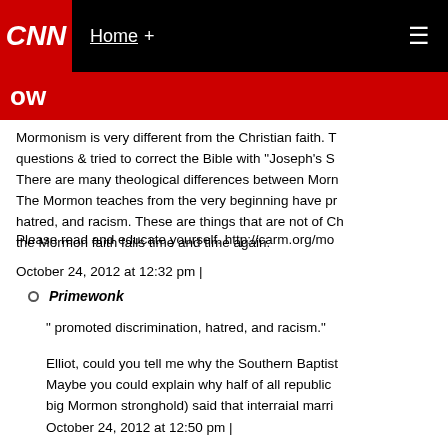CNN | Home +
Mormonism is very different from the Christian faith. T questions & tried to correct the Bible with "Joseph's S There are many theological differences between Morn The Mormon teaches from the very beginning have pr hatred, and racism. These are things that are not of Ch the Mormon faith fails time and time again.
Please read and educate yourself. http://carm.org/mo
October 24, 2012 at 12:32 pm |
Primewonk
" promoted discrimination, hatred, and racism."
Elliot, could you tell me why the Southern Baptist Maybe you could explain why half of all republic big Mormon stronghold) said that interraial marri
October 24, 2012 at 12:50 pm |